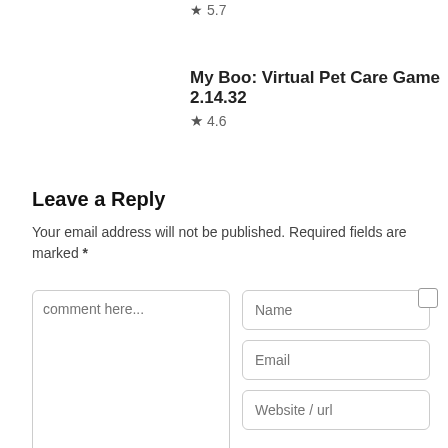★ 5.7
My Boo: Virtual Pet Care Game 2.14.32 ★ 4.6
Leave a Reply
Your email address will not be published. Required fields are marked *
[Figure (screenshot): Web form with comment textarea, Name, Email, Website/url input fields and a checkbox]